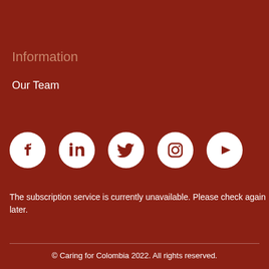Information
Our Team
[Figure (illustration): Row of five white circular social media icons on dark red background: Facebook, LinkedIn, Twitter, Instagram, YouTube]
The subscription service is currently unavailable. Please check again later.
© Caring for Colombia 2022. All rights reserved.